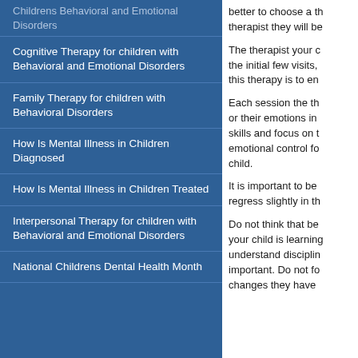Childrens Behavioral and Emotional Disorders
Cognitive Therapy for children with Behavioral and Emotional Disorders
Family Therapy for children with Behavioral Disorders
How Is Mental Illness in Children Diagnosed
How Is Mental Illness in Children Treated
Interpersonal Therapy for children with Behavioral and Emotional Disorders
National Childrens Dental Health Month
better to choose a therapist they will be
The therapist your child sees during the initial few visits, this therapy is to en
Each session the therapist or their emotions in skills and focus on t emotional control fo child.
It is important to be regress slightly in th
Do not think that be your child is learning understand disciplin important. Do not fo changes they have